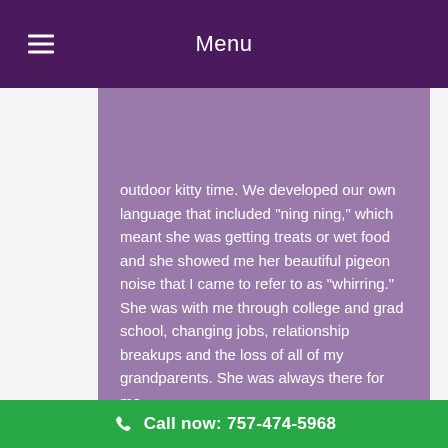Menu
outdoor kitty time. We developed our own language that included “ning ning,” which meant she was getting treats or wet food and she showed me her beautiful pigeon noise that I came to refer to as “whirring.” She was with me through college and grad school, changing jobs, relationship breakups and the loss of all of my grandparents. She was always there for me.
Call now: 757-474-5968